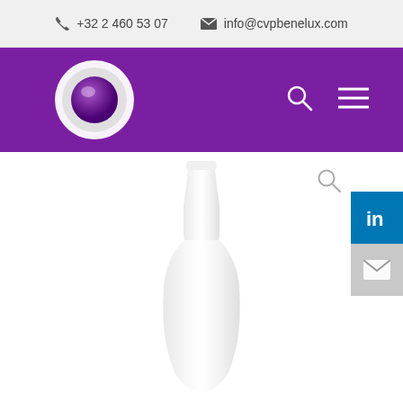+32 2 460 53 07  info@cvpbenelux.com
[Figure (logo): CVP Benelux logo: white circle with purple eye/ball icon, on purple navigation bar with search and hamburger menu icons]
[Figure (photo): White plastic bottle with narrow neck on white background]
[Figure (other): Social media sidebar with LinkedIn blue button and mail grey button, plus search icon]